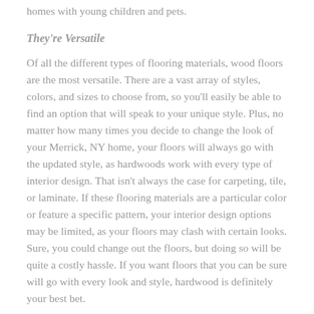homes with young children and pets.
They're Versatile
Of all the different types of flooring materials, wood floors are the most versatile. There are a vast array of styles, colors, and sizes to choose from, so you'll easily be able to find an option that will speak to your unique style. Plus, no matter how many times you decide to change the look of your Merrick, NY home, your floors will always go with the updated style, as hardwoods work with every type of interior design. That isn't always the case for carpeting, tile, or laminate. If these flooring materials are a particular color or feature a specific pattern, your interior design options may be limited, as your floors may clash with certain looks. Sure, you could change out the floors, but doing so will be quite a costly hassle. If you want floors that you can be sure will go with every look and style, hardwood is definitely your best bet.
Easy Maintenance